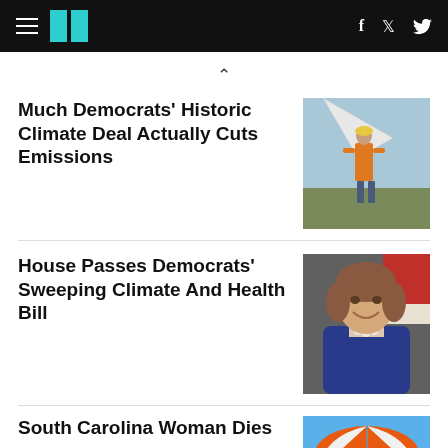HuffPost navigation bar with logo, hamburger menu, Facebook and Twitter icons
Much Democrats’ Historic Climate Deal Actually Cuts Emissions
[Figure (photo): Worker in orange safety vest working on a wind turbine blade outdoors]
House Passes Democrats’ Sweeping Climate And Health Bill
[Figure (photo): Nancy Pelosi smiling, wearing a blue blazer and pearl necklace, standing in front of a red and white flag]
South Carolina Woman Dies
[Figure (photo): Orange and white striped beach umbrella against a blue sky]